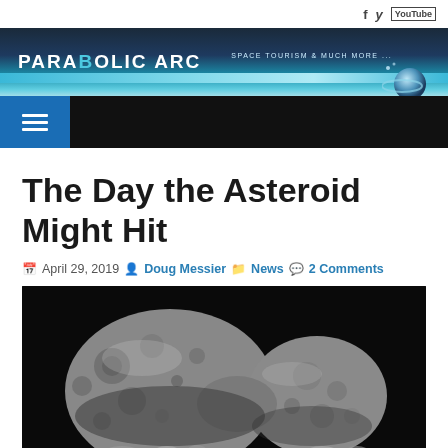Parabolic Arc — Space Tourism & Much More
The Day the Asteroid Might Hit
April 29, 2019 Doug Messier News 2 Comments
[Figure (photo): Black and white photograph of an asteroid with rocky, cratered surface against dark background]